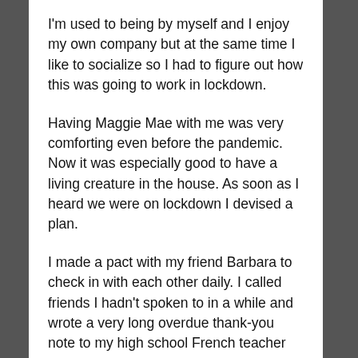I'm used to being by myself and I enjoy my own company but at the same time I like to socialize so I had to figure out how this was going to work in lockdown.
Having Maggie Mae with me was very comforting even before the pandemic.  Now it was especially good to have a living creature in the house. As soon as I heard we were on lockdown I devised a plan.
I made a pact with my friend Barbara to check in with each other daily. I called friends I hadn't spoken to in a while and wrote a very long overdue thank-you note to my high school French teacher Ellen LeClair who gave me advice that changed my life.
Since lockdown, it was myself added to my in the…